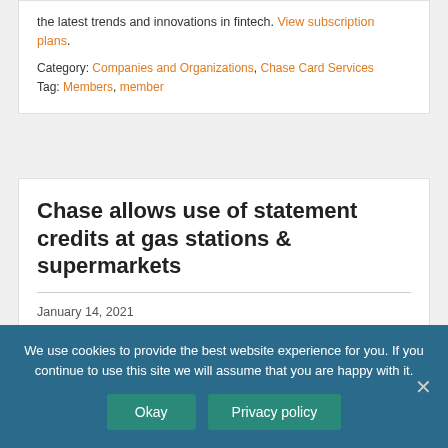the latest trends and innovations in fintech. View subscription plans.
Category: Companies and Organizations, Chase Card Services
Tag: Members, member
Chase allows use of statement credits at gas stations & supermarkets
January 14, 2021
This content is for members only. Sign up for access to the latest trends and innovations in fintech. View
We use cookies to provide the best website experience for you. If you continue to use this site we will assume that you are happy with it.
Okay
Privacy policy